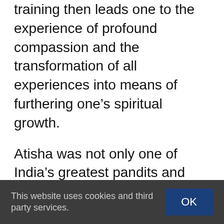training then leads one to the experience of profound compassion and the transformation of all experiences into means of furthering one's spiritual growth.
Atisha was not only one of India's greatest pandits and bodhisattvas, but also a renowned siddha, or contemplative adept, who was trained by Naropa and other masters of Mahamudra.
Following his teachings on The Seven-Point Mind Training, Lama Alan will conclude this retreat with teachings on Atisha's root text
This website uses cookies and third party services. OK